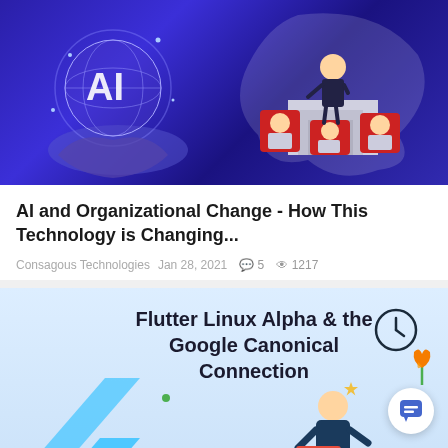[Figure (illustration): Banner image with dark blue/purple background. Left side shows a glowing holographic AI globe held by digital hands with 'AI' text. Right side shows a leadership scene with a person standing on a podium above three seated figures in red chairs.]
AI and Organizational Change - How This Technology is Changing...
Consagous Technologies  Jan 28, 2021  💬 5  👁 1217
[Figure (illustration): Light blue banner for Flutter Linux Alpha & the Google Canonical Connection article, showing the Flutter logo (blue arrow shape), a person working on a laptop, a clock, link/chain icon, orange tulip flower, and star decorations.]